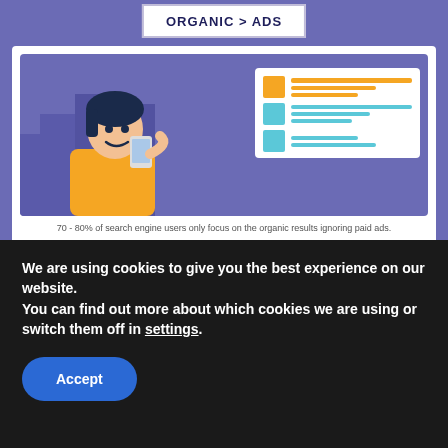ORGANIC > ADS
[Figure (illustration): Infographic showing a person looking at a phone with search engine results mockup on the right side, set against a purple background]
70 - 80% of search engine users only focus on the organic results ignoring paid ads.
FUTURE TRENDS
[Figure (screenshot): Browser window mockup with dark teal address bar showing green, yellow and red window control dots]
We are using cookies to give you the best experience on our website.
You can find out more about which cookies we are using or switch them off in settings.
Accept